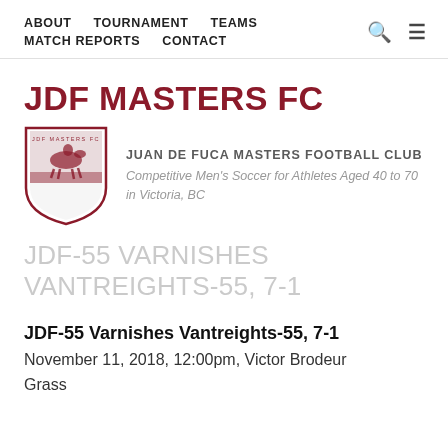ABOUT   TOURNAMENT   TEAMS   MATCH REPORTS   CONTACT
JDF MASTERS FC
[Figure (logo): JDF Masters FC shield logo in dark red/maroon, featuring a crest shape with a figure on a horse and horizontal stripe]
JUAN DE FUCA MASTERS FOOTBALL CLUB
Competitive Men's Soccer for Athletes Aged 40 to 70 in Victoria, BC
JDF-55 VARNISHES VANTREIGHTS-55, 7-1
JDF-55 Varnishes Vantreights-55, 7-1
November 11, 2018, 12:00pm, Victor Brodeur
Grass